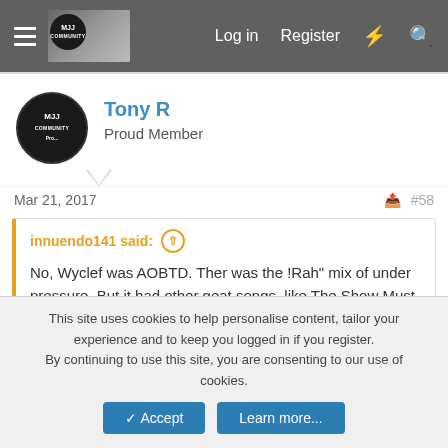Log in  Register
Tony R
Proud Member
Mar 21, 2017  #58
innuendo141 said: ↑
No, Wyclef was AOBTD. Ther was the !Rah" mix of under pressure. But it had other geat songs, like The Show Must Go On with Elton, No One But You, Made In Heaven songs and Living On My Own 🙂
Yeah that's it.
This site uses cookies to help personalise content, tailor your experience and to keep you logged in if you register.
By continuing to use this site, you are consenting to our use of cookies.